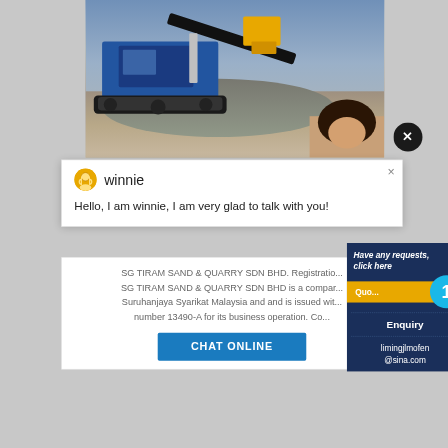[Figure (photo): Construction site photo showing blue heavy machinery/excavator with yellow bucket on gravel, with a person avatar visible in bottom right corner]
[Figure (screenshot): Live chat popup box with avatar icon, name 'winnie', and message: Hello, I am winnie, I am very glad to talk with you!]
SG TIRAM SAND & QUARRY SDN BHD. Registration... SG TIRAM SAND & QUARRY SDN BHD is a company registered with Suruhanjaya Syarikat Malaysia and is issued with number 13490-A for its business operation. Co...
CHAT ONLINE
Have any requests, click here
Enquiry
limingjlmofen@sina.com